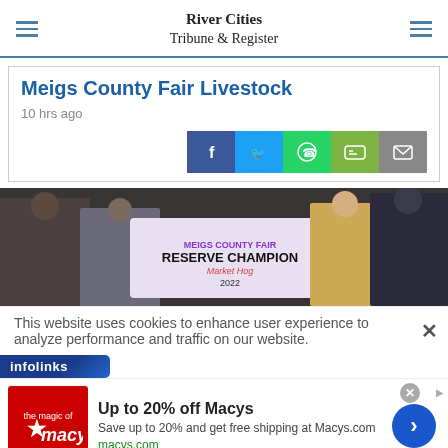River Cities Tribune & Register
Meigs County Fair Livestock
10 hrs ago
[Figure (photo): People holding a Meigs County Fair Reserve Champion Market Hog 2022 banner at a livestock fair]
This website uses cookies to enhance user experience to analyze performance and traffic on our website.
[Figure (other): infolinks advertisement banner - Up to 20% off Macys. Save up to 20% and get free shipping at Macys.com. macys.com]